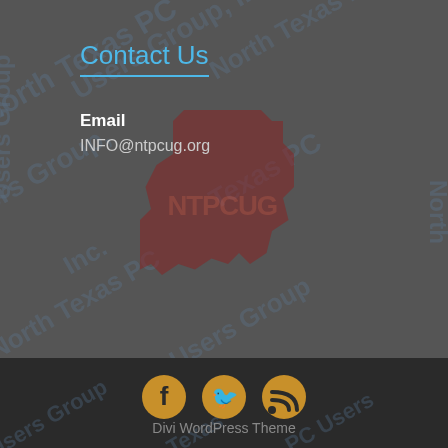Contact Us
Email
INFO@ntpcug.org
[Figure (logo): NTPCUG North Texas PC Users Group logo watermark — dark red Texas state silhouette with NTPCUG text, repeated watermark text in blue-gray]
Divi WordPress Theme